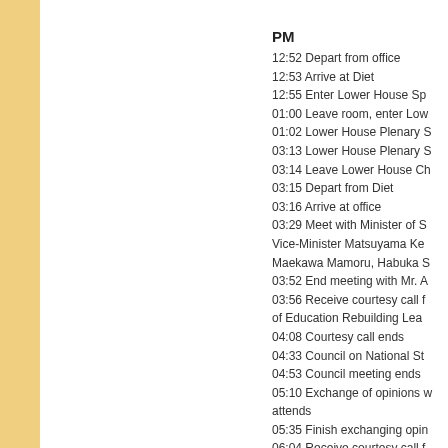PM
12:52 Depart from office
12:53 Arrive at Diet
12:55 Enter Lower House Sp
01:00 Leave room, enter Low
01:02 Lower House Plenary S
03:13 Lower House Plenary S
03:14 Leave Lower House Ch
03:15 Depart from Diet
03:16 Arrive at office
03:29 Meet with Minister of S Vice-Minister Matsuyama Ke Maekawa Mamoru, Habuka S
03:52 End meeting with Mr. A
03:56 Receive courtesy call f of Education Rebuilding Lea
04:08 Courtesy call ends
04:33 Council on National St
04:53 Council meeting ends
05:10 Exchange of opinions w attends
05:35 Finish exchanging opin
06:04 Receive courtesy call f